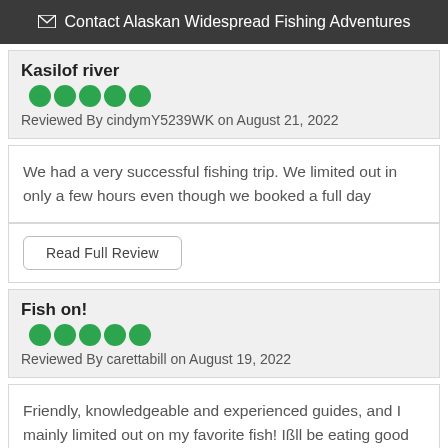Contact Alaskan Widespread Fishing Adventures
Kasilof river
Reviewed By cindymY5239WK on August 21, 2022
We had a very successful fishing trip. We limited out in only a few hours even though we booked a full day
Read Full Review
Fish on!
Reviewed By carettabill on August 19, 2022
Friendly, knowledgeable and experienced guides, and I mainly limited out on my favorite fish! I'll be eating good for weeks!